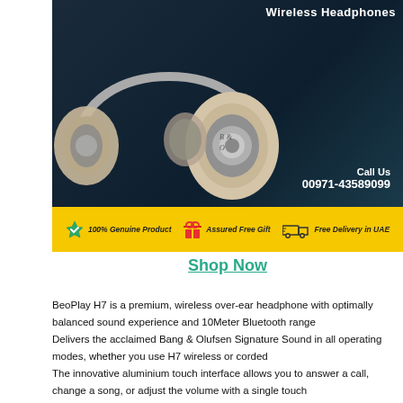[Figure (photo): Advertisement banner for BeoPlay H7 Wireless Headphones showing the headphones on a dark blue background with yellow strip featuring badges: 100% Genuine Product, Assured Free Gift, Free Delivery in UAE. Call Us 00971-43589099 text visible.]
Shop Now
BeoPlay H7 is a premium, wireless over-ear headphone with optimally balanced sound experience and 10Meter Bluetooth range
Delivers the acclaimed Bang & Olufsen Signature Sound in all operating modes, whether you use H7 wireless or corded
The innovative aluminium touch interface allows you to answer a call, change a song, or adjust the volume with a single touch